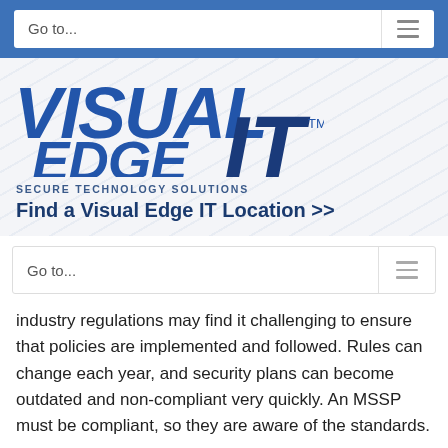Go to...
[Figure (logo): Visual Edge IT logo with tagline 'Secure Technology Solutions']
Find a Visual Edge IT Location >>
Go to...
industry regulations may find it challenging to ensure that policies are implemented and followed. Rules can change each year, and security plans can become outdated and non-compliant very quickly. An MSSP must be compliant, so they are aware of the standards.